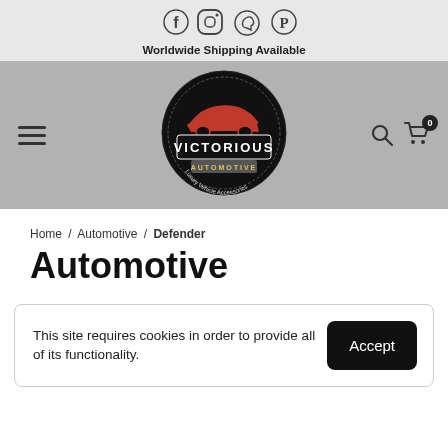[Figure (logo): Social media icons: Facebook, Instagram, WhatsApp, Pinterest]
Worldwide Shipping Available
[Figure (logo): Victorious Automotive logo — circular black badge with red car silhouette and 'VICTORIOUS AUTOMOTIVE Luxury Vehicle Accessories' text]
Home / Automotive / Defender
Automotive
This site requires cookies in order to provide all of its functionality.